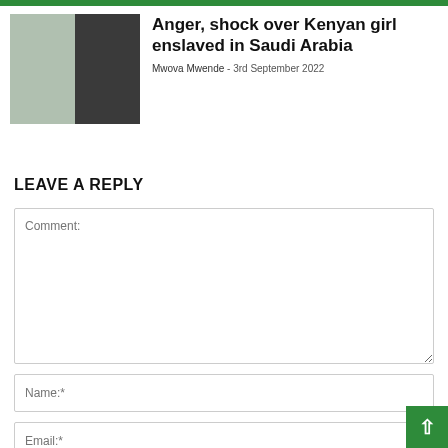[Figure (photo): Two-panel photo showing a Kenyan girl, left panel shows her before (white top), right panel shows her after (dark outfit)]
Anger, shock over Kenyan girl enslaved in Saudi Arabia
Mwova Mwende - 3rd September 2022
LEAVE A REPLY
Comment:
Name:*
Email:*